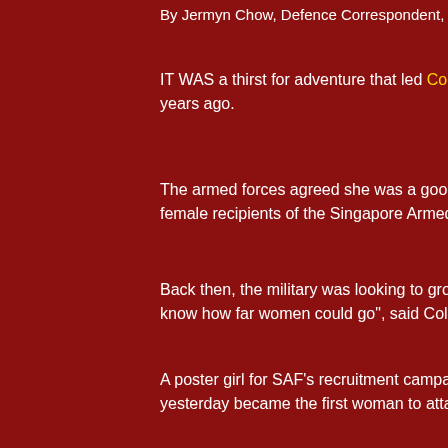By Jermyn Chow, Defence Correspondent, The St...
IT WAS a thirst for adventure that led Colonel Ga... years ago.
The armed forces agreed she was a good fit whe... female recipients of the Singapore Armed Forces (...
Back then, the military was looking to groom talen... know how far women could go", said Col Gan, 40.
A poster girl for SAF's recruitment campaign for... yesterday became the first woman to attain the ran...
Seven colonels headed the SAF's annual promoti... general or rear-admiral.